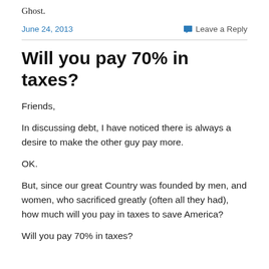Ghost.
June 24, 2013     Leave a Reply
Will you pay 70% in taxes?
Friends,
In discussing debt, I have noticed there is always a desire to make the other guy pay more.
OK.
But, since our great Country was founded by men, and women, who sacrificed greatly (often all they had), how much will you pay in taxes to save America?
Will you pay 70% in taxes?